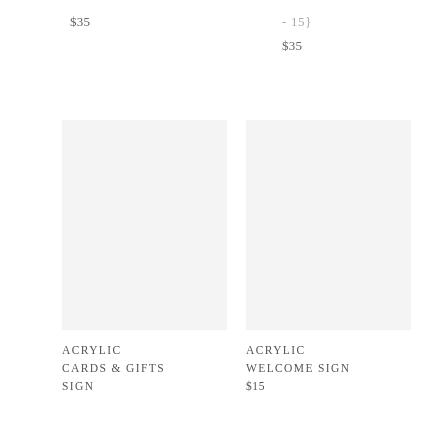$35
- 15}
$35
[Figure (photo): Light gray placeholder image, left column product photo]
[Figure (photo): Light gray placeholder image, right column product photo]
ACRYLIC CARDS & GIFTS SIGN
ACRYLIC WELCOME SIGN
$15